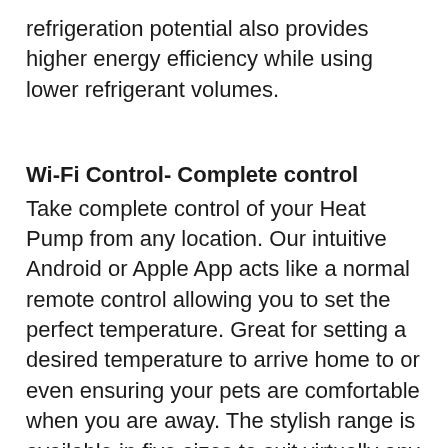refrigeration potential also provides higher energy efficiency while using lower refrigerant volumes.
Wi-Fi Control- Complete control
Take complete control of your Heat Pump from any location. Our intuitive Android or Apple App acts like a normal remote control allowing you to set the perfect temperature. Great for setting a desired temperature to arrive home to or even ensuring your pets are comfortable when you are away. The stylish range is available in five sizes to suit virtually any room or household
Available in the following sizes